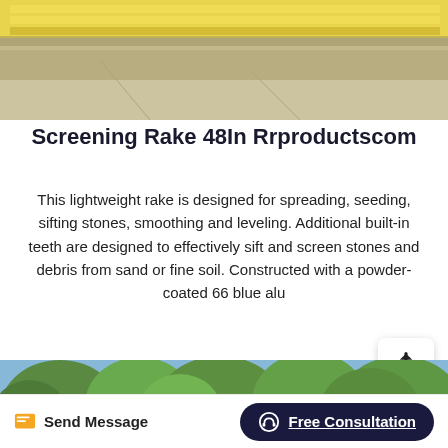[Figure (photo): Top portion of a photo showing yellow/tan industrial equipment (screening rakes) stored in a warehouse with concrete floor]
Screening Rake 48In Rrproductscom
This lightweight rake is designed for spreading, seeding, sifting stones, smoothing and leveling. Additional built-in teeth are designed to effectively sift and screen stones and debris from sand or fine soil. Constructed with a powder-coated 66 blue alu
[Figure (photo): Bottom portion showing green trees against a blue sky]
Send Message
Free Consultation